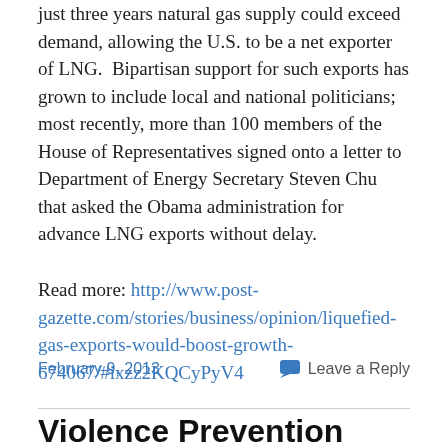just three years natural gas supply could exceed demand, allowing the U.S. to be a net exporter of LNG.  Bipartisan support for such exports has grown to include local and national politicians; most recently, more than 100 members of the House of Representatives signed onto a letter to Department of Energy Secretary Steven Chu that asked the Obama administration for advance LNG exports without delay.
Read more: http://www.post-gazette.com/stories/business/opinion/liquefied-gas-exports-would-boost-growth-674067/#ixzz2KQCyPyV4
February 9, 2013
Leave a Reply
Violence Prevention Program